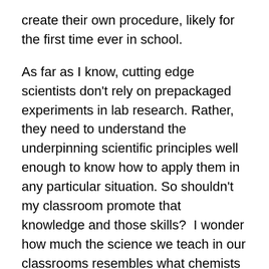create their own procedure, likely for the first time ever in school.
As far as I know, cutting edge scientists don't rely on prepackaged experiments in lab research. Rather, they need to understand the underpinning scientific principles well enough to know how to apply them in any particular situation. So shouldn't my classroom promote that knowledge and those skills?  I wonder how much the science we teach in our classrooms resembles what chemists or biologists actually do.
I find in chemistry, it's not always the what that is most important, it's the why. Students can follow a recipe lab from beginning to end, reach the correct outcome, and have no idea why any of it occurred.  It's common to find students performing labs where they do things like